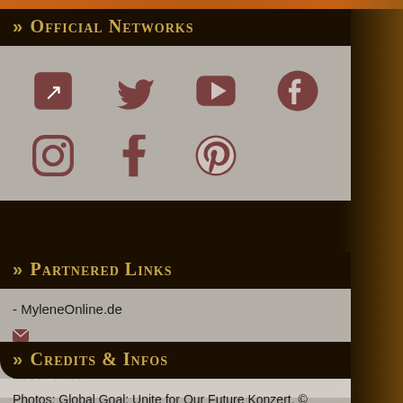>> Official Networks
[Figure (infographic): Social media icons grid: external link, Twitter, YouTube, Facebook (top row); Instagram, Tumblr, Pinterest (bottom row)]
>> Partnered Links
- MyleneOnline.de
✉ Kontaktiere uns, wenn du deine Seite hier auflisten lassen willst.
>> Credits & Infos
Photos: Global Goal: Unite for Our Future Konzert, © 2020
Design & Coding: Stefan, © März/ April 2021